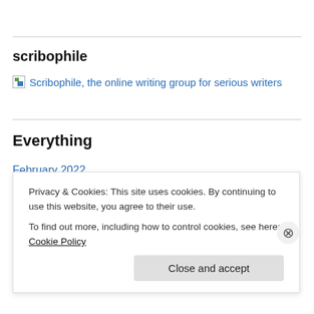scribophile
[Figure (other): Broken image icon followed by link text: Scribophile, the online writing group for serious writers]
Everything
February 2022
July 2021
May 2021
January 2021
Privacy & Cookies: This site uses cookies. By continuing to use this website, you agree to their use.
To find out more, including how to control cookies, see here: Cookie Policy